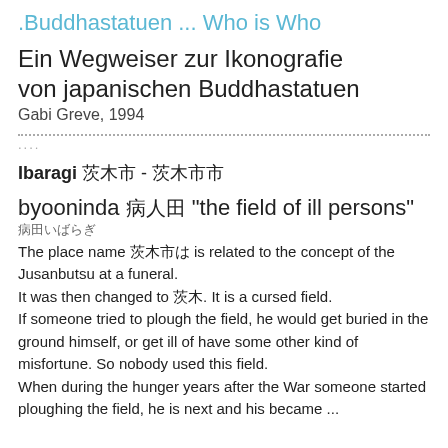.Buddhastatuen ... Who is Who
Ein Wegweiser zur Ikonografie von japanischen Buddhastatuen
Gabi Greve, 1994
....................................................................................................
Ibaragi 茨木市 - 茨木市市
byooninda 病人田 "the field of ill persons"
病田いばらぎ
The place name 茨木市は is related to the concept of the Jusanbutsu at a funeral.
It was then changed to 茨木. It is a cursed field.
If someone tried to plough the field, he would get buried in the ground himself, or get ill of have some other kind of misfortune. So nobody used this field.
When during the hunger years after the War someone started ploughing the field, he is next and his became ...